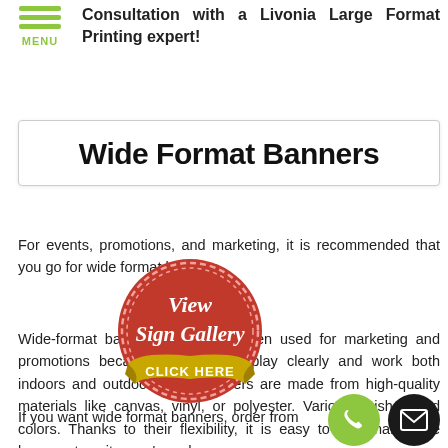Consultation with a Livonia Large Format Printing expert!
Wide Format Banners
For events, promotions, and marketing, it is recommended that you go for wide format banners.
Wide-format banners have long been used for marketing and promotions because they can display clearly and work both indoors and outdoors. The banners are made from high-quality materials like canvas, vinyl, or polyester. Various finishes and colors. Thanks to their flexibility, it is easy to personalize the banners to suit users' needs.
[Figure (illustration): Red circular stamp/seal with dashed border reading 'View Sign Gallery' with a gold ribbon banner below reading 'CLICK HERE']
If you want wide format banners, order from the top recommendations for satisfaction.